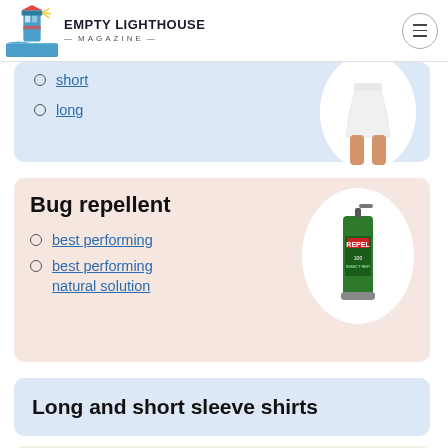EMPTY LIGHTHOUSE MAGAZINE
short
long
[Figure (photo): Photo of person wearing a white skirt, cropped at waist and knees, displayed in a circular frame]
Bug repellent
best performing
best performing natural solution
[Figure (photo): Photo of a green Repel bug spray bottle, displayed in a circular white frame]
Long and short sleeve shirts